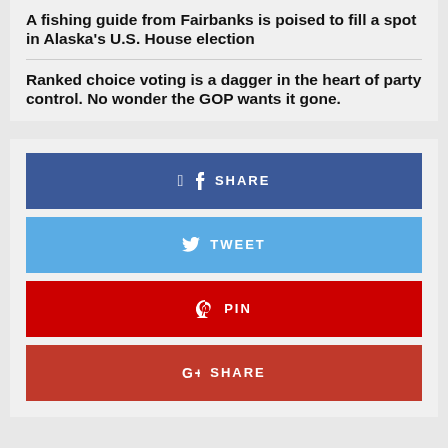A fishing guide from Fairbanks is poised to fill a spot in Alaska’s U.S. House election
Ranked choice voting is a dagger in the heart of party control. No wonder the GOP wants it gone.
[Figure (infographic): Social sharing buttons: Facebook SHARE (blue), Twitter TWEET (light blue), Pinterest PIN (red), Google+ SHARE (dark red)]
❮  Previous post    Next post  ❯